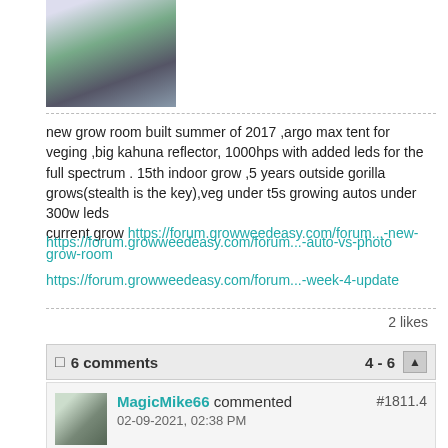[Figure (photo): Photo of a plant/flower arrangement in a container on a surface]
new grow room built summer of 2017 ,argo max tent for veging ,big kahuna reflector, 1000hps with added leds for the full spectrum . 15th indoor grow ,5 years outside gorilla grows(stealth is the key),veg under t5s growing autos under 300w leds
current grow https://forum.growweedeasy.com/forum...-new-grow-room
https://forum.growweedeasy.com/forum...-auto-vs-photo
https://forum.growweedeasy.com/forum...-week-4-update
2 likes
6 comments  4 - 6
MagicMike66 commented
02-09-2021, 02:38 PM
#1811.4
I make sure the water or feed pishes out the bottom of the pot almost every feed
JohnEmad commented
02-09-2021, 06:56 PM
#1811.5